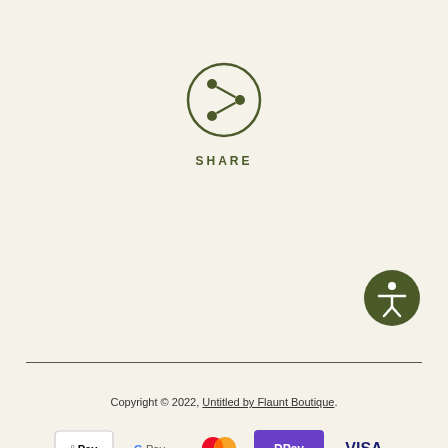[Figure (illustration): Share icon: a circle with a share/broadcast symbol inside, in dark olive green color, with the word SHARE in spaced uppercase letters below]
[Figure (illustration): Accessibility icon: a filled dark green circle with a white universal accessibility person symbol inside]
Copyright © 2022, Untitled by Flaunt Boutique.
[Figure (illustration): Payment method logos: Apple Pay, Google Pay, Mastercard, DPay (purple), Visa]